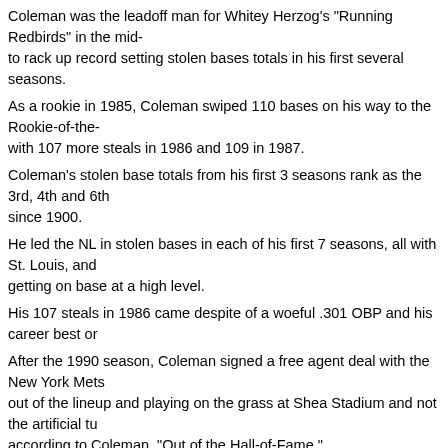Coleman was the leadoff man for Whitey Herzog's "Running Redbirds" in the mid- to rack up record setting stolen bases totals in his first several seasons.
As a rookie in 1985, Coleman swiped 110 bases on his way to the Rookie-of-the- with 107 more steals in 1986 and 109 in 1987.
Coleman's stolen base totals from his first 3 seasons rank as the 3rd, 4th and 6th since 1900.
He led the NL in stolen bases in each of his first 7 seasons, all with St. Louis, and getting on base at a high level.
His 107 steals in 1986 came despite of a woeful .301 OBP and his career best or
After the 1990 season, Coleman signed a free agent deal with the New York Mets out of the lineup and playing on the grass at Shea Stadium and not the artificial tu according to Coleman, "Out of the Hall-of-Fame."
Besides his speed, Coleman is perhaps most famous for two incidents:
Prior to game 4 of the 1985 National League Championship Series in St. Louis, C automatic tarp as it covered the field and had to be taken off the field in a stretche of the NLCS and the World Series.
8 years later, while with Mets, Coleman was approached by some fans while in hi
Vince responded by throwing a lit firecracker into the crowd and later received 3 y
After the firecracker indicient, Coleman's career in New York was over and he jo and later the Mariners, Reds and Tigers, where he finished his career in 1997 wit average.